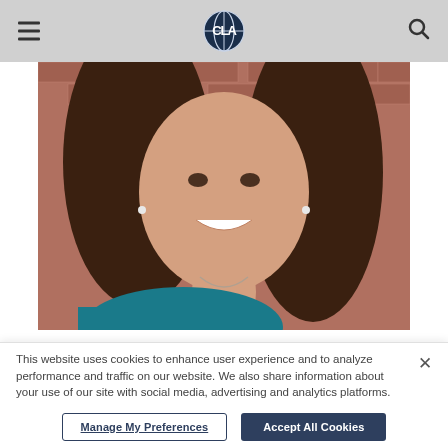[Figure (logo): CLA (CliftonLarsonAllen) globe logo in dark navy blue]
[Figure (photo): Professional headshot of a smiling woman with long brown hair, wearing a teal top and necklace, with a brick wall background]
This website uses cookies to enhance user experience and to analyze performance and traffic on our website. We also share information about your use of our site with social media, advertising and analytics platforms.
Manage My Preferences
Accept All Cookies